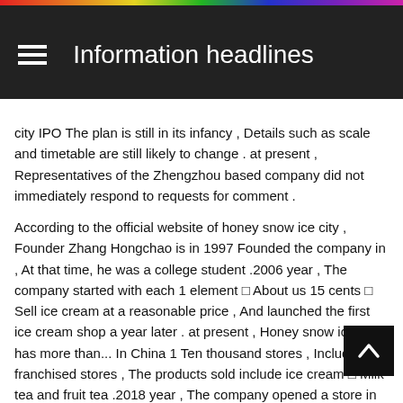Information headlines
city IPO The plan is still in its infancy , Details such as scale and timetable are still likely to change . at present , Representatives of the Zhengzhou based company did not immediately respond to requests for comment .
According to the official website of honey snow ice city , Founder Zhang Hongchao is in 1997 Founded the company in , At that time, he was a college student .2006 year , The company started with each 1 element □ About us 15 cents □ Sell ice cream at a reasonable price , And launched the first ice cream shop a year later . at present , Honey snow ice city has more than... In China 1 Ten thousand stores , Including franchised stores , The products sold include ice cream □ Milk tea and fruit tea .2018 year , The company opened a store in Hanoi .
Besides , This year, 6 month , New tea “ Naixue's tea ”